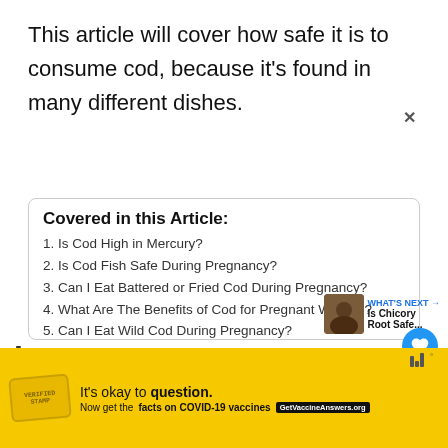This article will cover how safe it is to consume cod, because it's found in many different dishes.
Covered in this Article:
1. Is Cod High in Mercury?
2. Is Cod Fish Safe During Pregnancy?
3. Can I Eat Battered or Fried Cod During Pregnancy?
4. What Are The Benefits of Cod for Pregnant Women?
5. Can I Eat Wild Cod During Pregnancy?
6. Is Smoked Cod Safe When Pregnant?
7. Can I Eat Salt Cod When Pregnant?
[Figure (infographic): Yellow advertisement banner for COVID-19 vaccine information with text 'It’s okay to question. Now get the facts on COVID-19 vaccines GetVaccineAnswers.org']